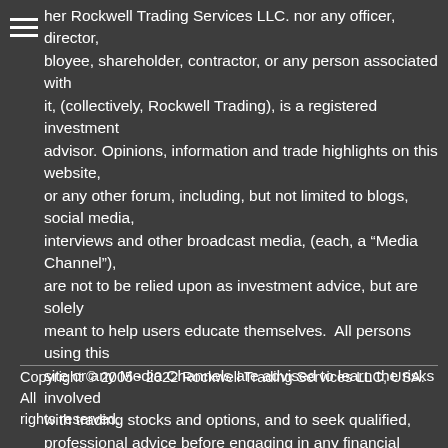her Rockwell Trading Services LLC. nor any officer, director, bloyee, shareholder, contractor, or any person associated with it, (collectively, Rockwell Trading), is a registered investment advisor. Opinions, information and trade highlights on this website, or any other forum, including, but not limited to blogs, social media, interviews and other broadcast media, (each, a "Media Channel"), are not to be relied upon as investment advice, but are solely meant to help users educate themselves. All persons using this site or any Media Channels are advised to learn the risks involved with trading stocks and options, and to seek qualified, professional advice before engaging in any financial transaction. Securities trading, including those involving stocks, bonds and options highlighted by Rockwell Trading and its personnel, is an inherently risky activity.. Traders must do their own research, and understand all the risks involved in any transaction. Rockwell Trading, while attempting to deliver accurate information, cannot and does not in any way guarantee success on any trade.
Copyright © 2005 - 2022 Rockwell Trading Services LLC, USA. All rights reserved.